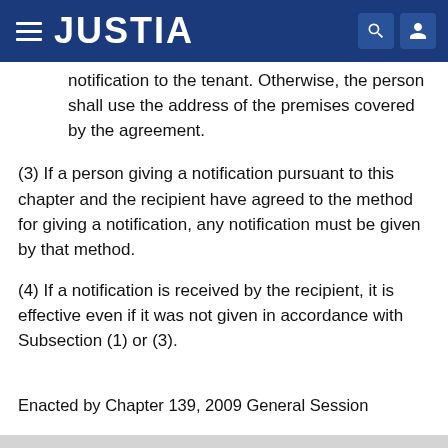JUSTIA
notification to the tenant. Otherwise, the person shall use the address of the premises covered by the agreement.
(3) If a person giving a notification pursuant to this chapter and the recipient have agreed to the method for giving a notification, any notification must be given by that method.
(4) If a notification is received by the recipient, it is effective even if it was not given in accordance with Subsection (1) or (3).
Enacted by Chapter 139, 2009 General Session